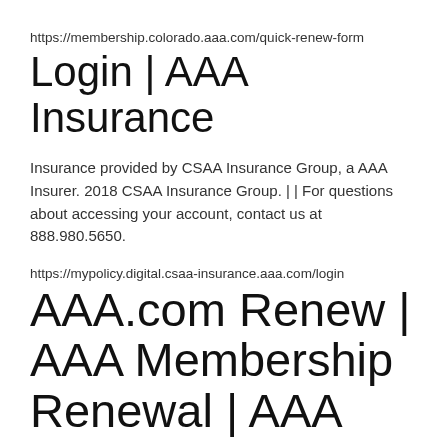https://membership.colorado.aaa.com/quick-renew-form
Login | AAA Insurance
Insurance provided by CSAA Insurance Group, a AAA Insurer. 2018 CSAA Insurance Group. | | For questions about accessing your account, contact us at 888.980.5650.
https://mypolicy.digital.csaa-insurance.aaa.com/login
AAA.com Renew | AAA Membership Renewal | AAA
Renew Your AAA Membership Now Maintain